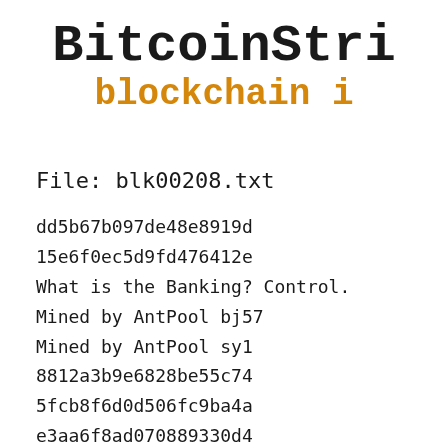BitcoinStri
blockchain i
File: blk00208.txt
dd5b67b097de48e8919d
15e6f0ec5d9fd476412e
What is the Banking? Control.
Mined by AntPool bj57
Mined by AntPool sy1
8812a3b9e6828be55c74
5fcb8f6d0d506fc9ba4a
e3aa6f8ad070889330d4
80612d40cbf8ced6d00c
Hello World, **~#^?!
u=https://cpr.sm/jVklm8TJup
Mined by daizhizhong
$/mining.bitcoinaffiliatenetwork.com/
Welcome to the real world.
! either by persuasi
3rth living, or beca
Py nation today shou
2o die for a life wo
Rnd or foe, - JFK 9/